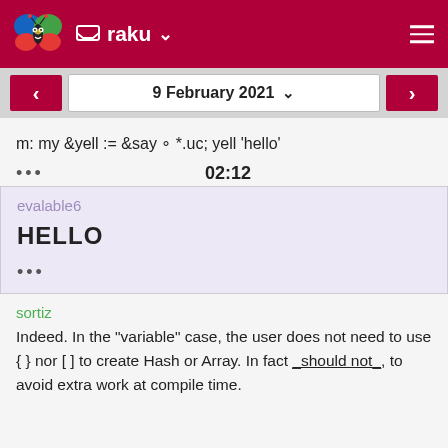raku
9 February 2021
m: my &yell := &say ∘ *.uc; yell 'hello'
02:12
evalable6
HELLO
...
sortiz
Indeed. In the "variable" case, the user does not need to use { } nor [ ] to create Hash or Array. In fact _should not_, to avoid extra work at compile time.